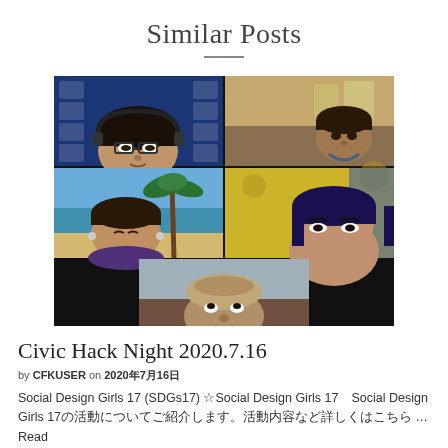Similar Posts
[Figure (photo): Screenshot of a video call with 5 participants shown in a grid layout: top-left person wearing glasses with a blue branded background, top-right person in a room, middle-left person with a tropical beach virtual background, middle-right person with yellow background, bottom-center person looking up at camera.]
Civic Hack Night 2020.7.16
by CFKUSER on 2020年7月16日
Social Design Girls 17 (SDGs17) ☆Social Design Girls 17　Social Design Girls 17の活動についてご紹介します。活動内容など詳しくはこちら … Read More